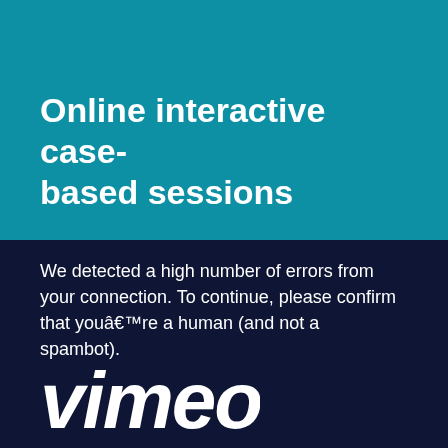Online interactive case-based sessions
We detected a high number of errors from your connection. To continue, please confirm that youâre a human (and not a spambot).
[Figure (logo): Vimeo logo in white text on dark navy background]